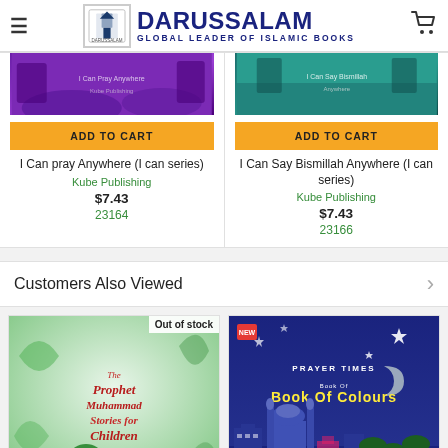DARUSSALAM — GLOBAL LEADER OF ISLAMIC BOOKS
[Figure (screenshot): Book cover for 'I Can pray Anywhere (I can series)' — purple background]
ADD TO CART
I Can pray Anywhere (I can series)
Kube Publishing
$7.43
23164
[Figure (screenshot): Book cover for 'I Can Say Bismillah Anywhere (I can series)' — teal background]
ADD TO CART
I Can Say Bismillah Anywhere (I can series)
Kube Publishing
$7.43
23166
Customers Also Viewed
[Figure (photo): Book cover: The Prophet Muhammad Stories for Children — green illustrated cover. Out of stock badge shown.]
[Figure (photo): Book cover: Prayer Times Book Of Colours — dark blue night city skyline cover]